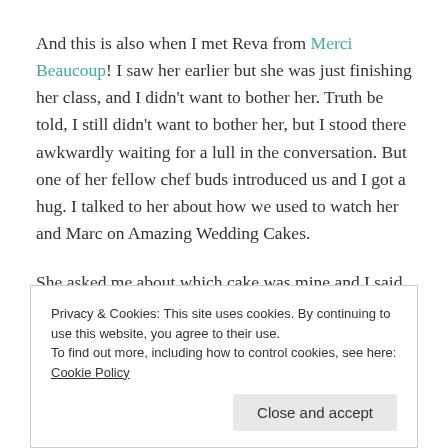And this is also when I met Reva from Merci Beaucoup! I saw her earlier but she was just finishing her class, and I didn't want to bother her. Truth be told, I still didn't want to bother her, but I stood there awkwardly waiting for a lull in the conversation. But one of her fellow chef buds introduced us and I got a hug. I talked to her about how we used to watch her and Marc on Amazing Wedding Cakes.
She asked me about which cake was mine and I said it was "just a small celebration cakes, but somehow I got
Privacy & Cookies: This site uses cookies. By continuing to use this website, you agree to their use.
To find out more, including how to control cookies, see here: Cookie Policy
had heard before. It meant a lot, because I was actually